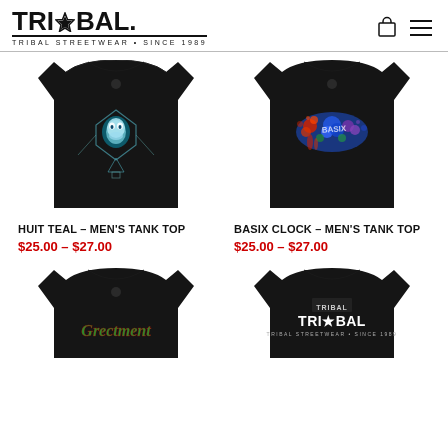TRIBAL STREETWEAR • SINCE 1989
[Figure (photo): Black men's tank top with teal geometric skull graphic - Huit Teal]
HUIT TEAL – MEN'S TANK TOP
$25.00 – $27.00
[Figure (photo): Black men's tank top with colorful graffiti-style graphic - Basix Clock]
BASIX CLOCK – MEN'S TANK TOP
$25.00 – $27.00
[Figure (photo): Black men's tank top with green and red gothic text graphic - partially visible]
[Figure (photo): Black men's tank top with Tribal Streetwear logo graphic - partially visible]